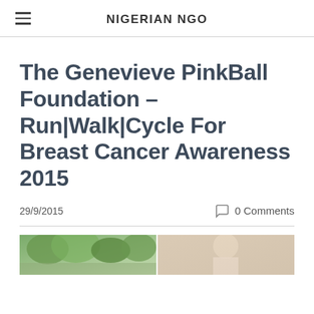NIGERIAN NGO
The Genevieve PinkBall Foundation – Run|Walk|Cycle For Breast Cancer Awareness 2015
29/9/2015
0 Comments
[Figure (photo): Two photos side by side: left shows outdoor greenery/trees, right shows a person (partially visible)]